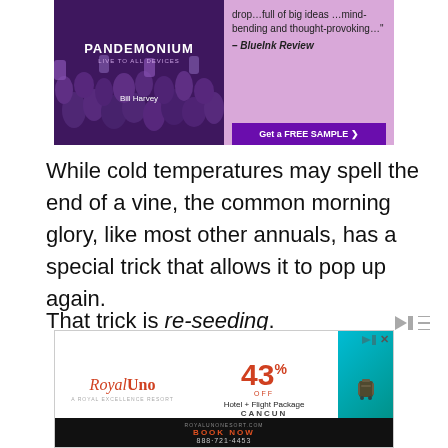[Figure (illustration): Advertisement for 'Pandemonium: Live to All Devices' book by Bill Harvey, with BlueInk Review quote and 'Get a FREE SAMPLE' button, lavender/purple themed]
While cold temperatures may spell the end of a vine, the common morning glory, like most other annuals, has a special trick that allows it to pop up again.
That trick is re-seeding.
[Figure (illustration): Advertisement for Royal Uno resort: 43% OFF Hotel + Flight Package, Cancun. Book Now. 888-721-4453. royalunonesort.com]